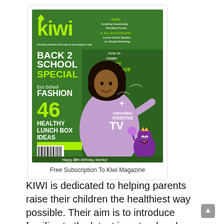[Figure (photo): Cover of Kiwi magazine featuring a Back 2 School Special issue. A girl writing on a chalkboard is on the cover. Text includes: Inside: Avoiding Genetically Modified Foods, 21 Eco School Supplies, Laurie David Speaks on Global Warming, BACK 2 SCHOOL SPECIAL, How to create A SMART STUDY SPACE, Eco School FASHION, 46 HEALTHY LUNCH BOX IDEAS, CHOOSING POSITIVE TV, DATA REPORT COLLEGE CAMPUSES, Happy 20th Birthday Barney]
Free Subscription To Kiwi Magazine
KIWI is dedicated to helping parents raise their children the healthiest way possible. Their aim is to introduce families to the latest in natural and